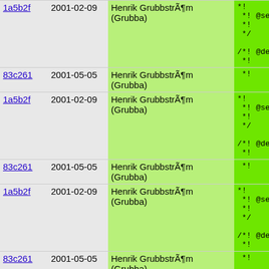| hash | date | author | code |
| --- | --- | --- | --- |
| 1a5b2f | 2001-02-09 | Henrik GrubbstrÃ¶m (Grubba) | *!
 *! @seeal
 *!    @[1f
 */

/*! @decl
 *! |
| 83c261 | 2001-05-05 | Henrik GrubbstrÃ¶m (Grubba) | *!      Righ |
| 1a5b2f | 2001-02-09 | Henrik GrubbstrÃ¶m (Grubba) | *!
 *! @seeal
 *!    @[1f
 */

/*! @decl
 *! |
| 83c261 | 2001-05-05 | Henrik GrubbstrÃ¶m (Grubba) | *!      Righ |
| 1a5b2f | 2001-02-09 | Henrik GrubbstrÃ¶m (Grubba) | *!
 *! @seeal
 *!    @[1f
 */

/*! @decl
 *! |
| 83c261 | 2001-05-05 | Henrik GrubbstrÃ¶m (Grubba) | *!      Righ |
| 1a5b2f | 2001-02-09 | Henrik GrubbstrÃ¶m (Grubba) | *!
 *! @seea |